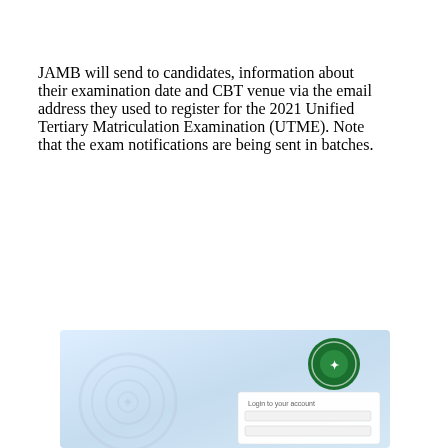JAMB will send to candidates, information about their examination date and CBT venue via the email address they used to register for the 2021 Unified Tertiary Matriculation Examination (UTME). Note that the exam notifications are being sent in batches.
[Figure (screenshot): Screenshot of a JAMB portal login page showing a green JAMB seal/logo at top right, a circular watermark on the left, and a login form with 'Login to your account' heading and input fields.]